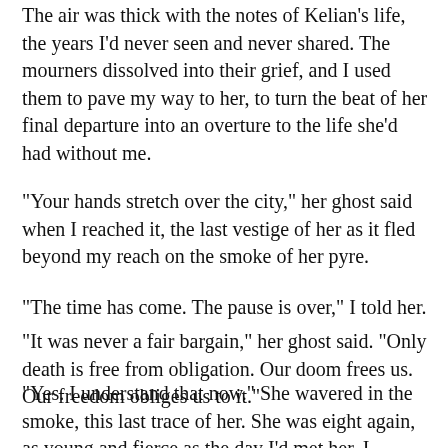The air was thick with the notes of Kelian's life, the years I'd never seen and never shared. The mourners dissolved into their grief, and I used them to pave my way to her, to turn the beat of her final departure into an overture to the life she'd had without me.
“Your hands stretch over the city,” her ghost said when I reached it, the last vestige of her as it fled beyond my reach on the smoke of her pyre.
“The time has come. The pause is over,” I told her.
“It was never a fair bargain,” her ghost said. “Only death is free from obligation. Our doom frees us. Our freedom obliges us to it.”
“Yes. I understand that now.” She wavered in the smoke, this last trace of her. She was eight again, as young and fierce as the day I’d met her. I reached